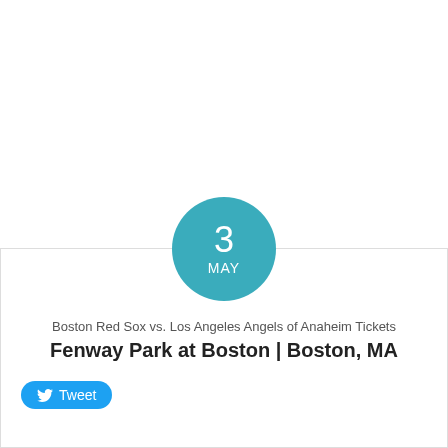[Figure (other): Teal circular date badge showing '3' and 'MAY']
Boston Red Sox vs. Los Angeles Angels of Anaheim Tickets
Fenway Park at Boston | Boston, MA
[Figure (other): Twitter Tweet button with bird icon and 'Tweet' text in cyan/blue pill shape]